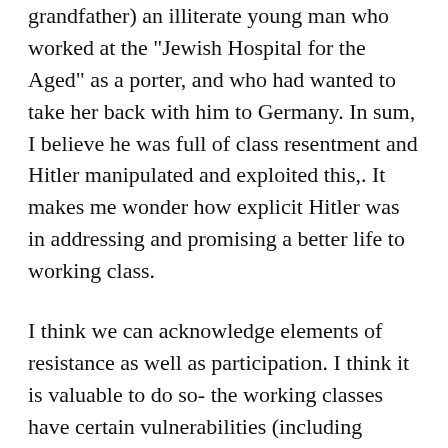grandfather) an illiterate young man who worked at the "Jewish Hospital for the Aged" as a porter, and who had wanted to take her back with him to Germany. In sum, I believe he was full of class resentment and Hitler manipulated and exploited this,. It makes me wonder how explicit Hitler was in addressing and promising a better life to working class.
I think we can acknowledge elements of resistance as well as participation. I think it is valuable to do so- the working classes have certain vulnerabilities (including limited education, especially as it relates to extensive and stressful working lives) and these can be manipulated. We are seeing this again in the era of Trump.